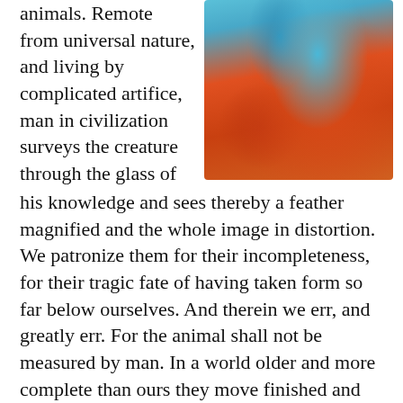animals. Remote from universal nature, and living by complicated artifice, man in civilization surveys the creature through the glass of his knowledge and sees thereby a feather magnified and the whole image in distortion. We patronize them for their incompleteness, for their tragic fate of having taken form so far below ourselves. And therein we err, and greatly err.  For the animal shall not be measured by man. In a world older and more complete than ours they move finished and complete, gifted with extensions of the senses we have lost or never attained, living by voices we shall never hear. They are not brethren, they are not underlings; they are other nations, caught with ourselves in the net of life and time, fellow
[Figure (photo): A close-up photo showing colorful fabric or clothing — a vibrant blue and orange/red combination, possibly a person wearing or carrying brightly colored textile garments.]